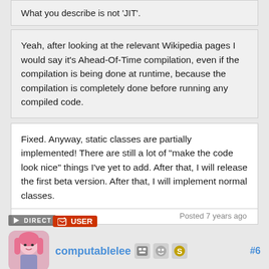What you describe is not 'JIT'.
Yeah, after looking at the relevant Wikipedia pages I would say it's Ahead-Of-Time compilation, even if the compilation is being done at runtime, because the compilation is completely done before running any compiled code.
Fixed. Anyway, static classes are partially implemented! There are still a lot of "make the code look nice" things I've yet to add. After that, I will release the first beta version. After that, I will implement normal classes.
Posted 7 years ago
computablelee #6
@Nit: